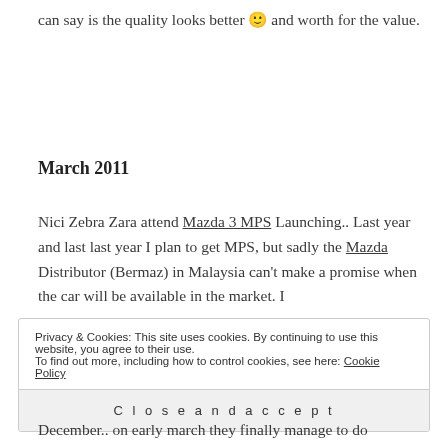can say is the quality looks better 🙂 and worth for the value.
March 2011
Nici Zebra Zara attend Mazda 3 MPS Launching.. Last year and last last year I plan to get MPS, but sadly the Mazda Distributor (Bermaz) in Malaysia can't make a promise when the car will be available in the market. I
Privacy & Cookies: This site uses cookies. By continuing to use this website, you agree to their use.
To find out more, including how to control cookies, see here: Cookie Policy
Close and accept
December.. on early march they finally manage to do